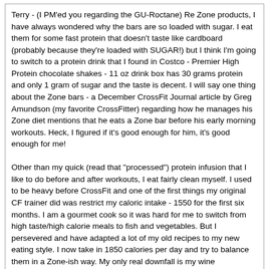Terry - (I PM'ed you regarding the GU-Roctane) Re Zone products, I have always wondered why the bars are so loaded with sugar. I eat them for some fast protein that doesn't taste like cardboard (probably because they're loaded with SUGAR!) but I think I'm going to switch to a protein drink that I found in Costco - Premier High Protein chocolate shakes - 11 oz drink box has 30 grams protein and only 1 gram of sugar and the taste is decent. I will say one thing about the Zone bars - a December CrossFit Journal article by Greg Amundson (my favorite CrossFitter) regarding how he manages his Zone diet mentions that he eats a Zone bar before his early morning workouts. Heck, I figured if it's good enough for him, it's good enough for me!

Other than my quick (read that "processed") protein infusion that I like to do before and after workouts, I eat fairly clean myself. I used to be heavy before CrossFit and one of the first things my original CF trainer did was restrict my caloric intake - 1550 for the first six months. I am a gourmet cook so it was hard for me to switch from high taste/high calorie meals to fish and vegetables. But I persevered and have adapted a lot of my old recipes to my new eating style. I now take in 1850 calories per day and try to balance them in a Zone-ish way. My only real downfall is my wine consumption - I simply can't give up a glass or two of good Pinot Noir - but I always keep the wine drinking within the 1850 calorie limit.
Stephen R. Lampl
01-13-2009 06:15 PM
Re: Over 50 Crossfitters Sign In